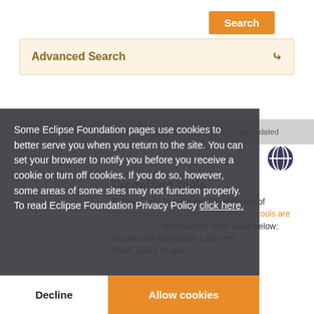Search
Advanced Search
| Alphabetical | Foundation Members | Last Updated |
| --- | --- | --- |
Dropwizard Tools
Eclipse Tools to ease the development of Dropwizard applications. The following tools are included and described in more detail below: Dropwizard Application Launcher YAML Editor Dropw...
Some Eclipse Foundation pages use cookies to better serve you when you return to the site. You can set your browser to notify you before you receive a cookie or turn off cookies. If you do so, however, some areas of some sites may not function properly. To read Eclipse Foundation Privacy Policy click here.
Decline
Allow cookies